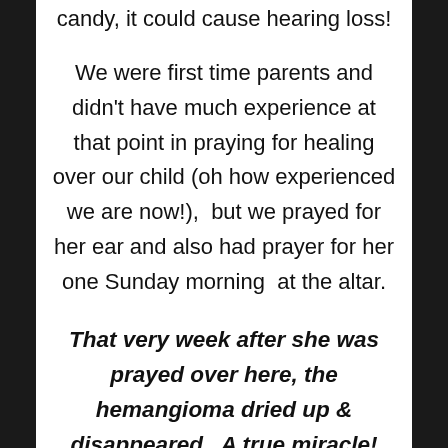candy, it could cause hearing loss!
We were first time parents and didn't have much experience at that point in praying for healing over our child (oh how experienced we are now!),  but we prayed for her ear and also had prayer for her one Sunday morning  at the altar.
That very week after she was prayed over here, the hemangioma dried up & disappeared.  A true miracle!
For us, that was the first healing stone